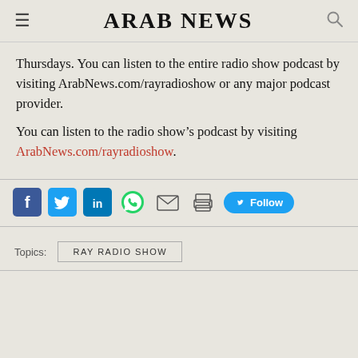ARAB NEWS
Thursdays. You can listen to the entire radio show podcast by visiting ArabNews.com/rayradioshow or any major podcast provider.
You can listen to the radio show’s podcast by visiting ArabNews.com/rayradioshow.
[Figure (infographic): Social sharing icons: Facebook, Twitter, LinkedIn, WhatsApp, Email, Print, and a Twitter Follow button]
Topics: RAY RADIO SHOW